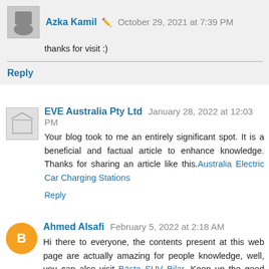Azka Kamil — October 29, 2021 at 7:39 PM
thanks for visit :)
Reply
EVE Australia Pty Ltd — January 28, 2022 at 12:03 PM
Your blog took to me an entirely significant spot. It is a beneficial and factual article to enhance knowledge. Thanks for sharing an article like this. Australia Electric Car Charging Stations
Reply
Ahmed Alsafi — February 5, 2022 at 2:18 AM
Hi there to everyone, the contents present at this web page are actually amazing for people knowledge, well, you can also visit Bästa SUV Bilar. Keep up the good work.
Reply